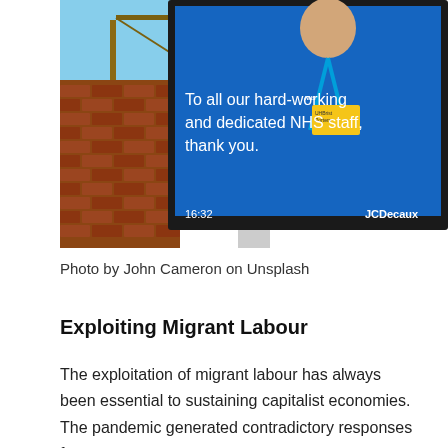[Figure (photo): Outdoor digital billboard by JCDecaux showing a message 'To all our hard-working and dedicated NHS staff, thank you.' with an image of an NHS worker in blue uniform with lanyard. The billboard shows time 16:32. Billboard is mounted against a red brick building with a bridge visible in the background.]
Photo by John Cameron on Unsplash
Exploiting Migrant Labour
The exploitation of migrant labour has always been essential to sustaining capitalist economies. The pandemic generated contradictory responses from